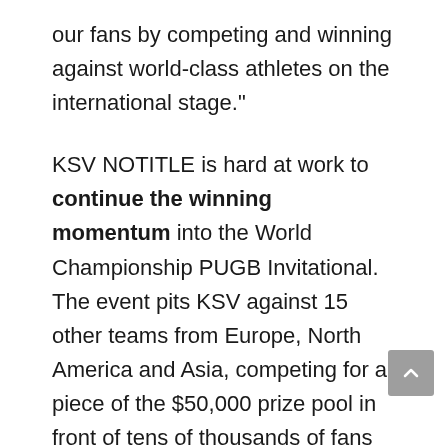our fans by competing and winning against world-class athletes on the international stage."
KSV NOTITLE is hard at work to continue the winning momentum into the World Championship PUGB Invitational. The event pits KSV against 15 other teams from Europe, North America and Asia, competing for a piece of the $50,000 prize pool in front of tens of thousands of fans at the IEM Expo. The diverse rosters and teams make for what is among PUBG's first truly global contests.